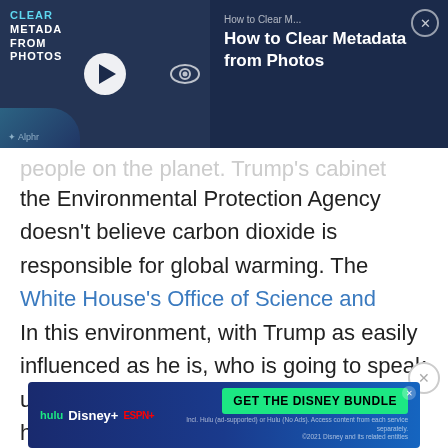[Figure (screenshot): Video overlay banner for 'How to Clear Metadata from Photos' with thumbnail showing a woman at a computer, play button, Alphr logo, and close button on dark navy background.]
people on the planet. Trump's cabinet pick for the Environmental Protection Agency doesn't believe carbon dioxide is responsible for global warming. The White House's Office of Science and Technology Policy has no scientists left in it.
In this environment, with Trump as easily influenced as he is, who is going to speak up in support for America performing a hugely embarrassing U-turn?
[Figure (screenshot): Disney Bundle advertisement banner at the bottom with Hulu, Disney+, ESPN+ logos and GET THE DISNEY BUNDLE call to action button.]